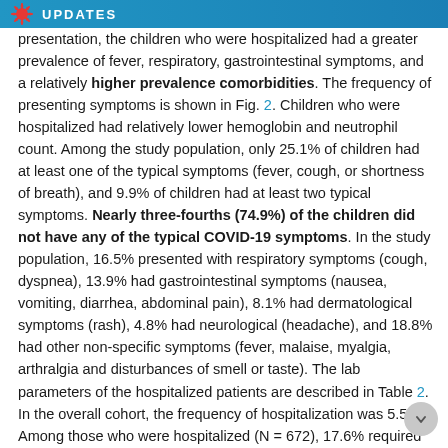UPDATES
presentation, the children who were hospitalized had a greater prevalence of fever, respiratory, gastrointestinal symptoms, and a relatively higher prevalence comorbidities. The frequency of presenting symptoms is shown in Fig. 2. Children who were hospitalized had relatively lower hemoglobin and neutrophil count. Among the study population, only 25.1% of children had at least one of the typical symptoms (fever, cough, or shortness of breath), and 9.9% of children had at least two typical symptoms. Nearly three-fourths (74.9%) of the children did not have any of the typical COVID-19 symptoms. In the study population, 16.5% presented with respiratory symptoms (cough, dyspnea), 13.9% had gastrointestinal symptoms (nausea, vomiting, diarrhea, abdominal pain), 8.1% had dermatological symptoms (rash), 4.8% had neurological (headache), and 18.8% had other non-specific symptoms (fever, malaise, myalgia, arthralgia and disturbances of smell or taste). The lab parameters of the hospitalized patients are described in Table 2. In the overall cohort, the frequency of hospitalization was 5.5%. Among those who were hospitalized (N = 672), 17.6% required critical care services (N = 118), and 4.1%